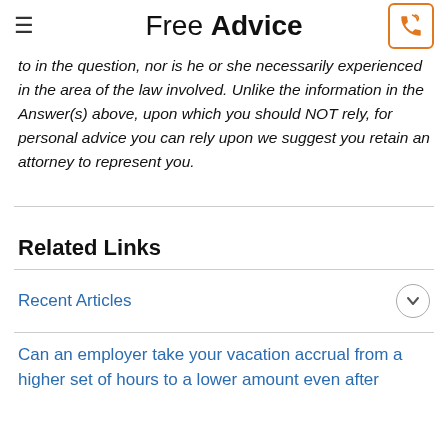Free Advice
to in the question, nor is he or she necessarily experienced in the area of the law involved. Unlike the information in the Answer(s) above, upon which you should NOT rely, for personal advice you can rely upon we suggest you retain an attorney to represent you.
Related Links
Recent Articles
Can an employer take your vacation accrual from a higher set of hours to a lower amount even after